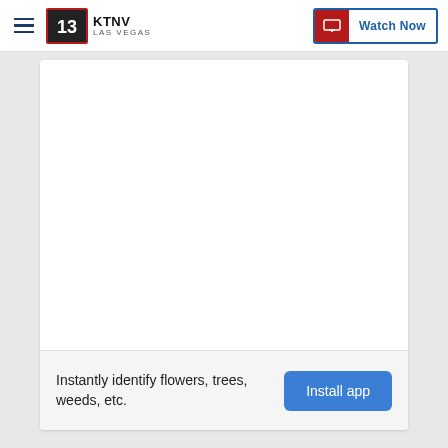KTNV Las Vegas | Watch Now
[Figure (screenshot): KTNV Las Vegas news website header with hamburger menu, KTNV channel 13 logo, and Watch Now button]
[Figure (other): Large white empty content area inside a card, representing an article or video embed area]
Instantly identify flowers, trees, weeds, etc.
Install app